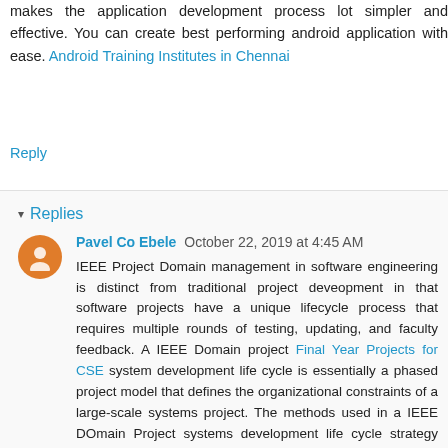makes the application development process lot simpler and effective. You can create best performing android application with ease. Android Training Institutes in Chennai
Reply
Replies
Pavel Co Ebele  October 22, 2019 at 4:45 AM
IEEE Project Domain management in software engineering is distinct from traditional project deveopment in that software projects have a unique lifecycle process that requires multiple rounds of testing, updating, and faculty feedback. A IEEE Domain project Final Year Projects for CSE system development life cycle is essentially a phased project model that defines the organizational constraints of a large-scale systems project. The methods used in a IEEE DOmain Project systems development life cycle strategy Project Centers in Chennai For CSE provide clearly defined phases of work to plan, design, test, deploy, and maintain information